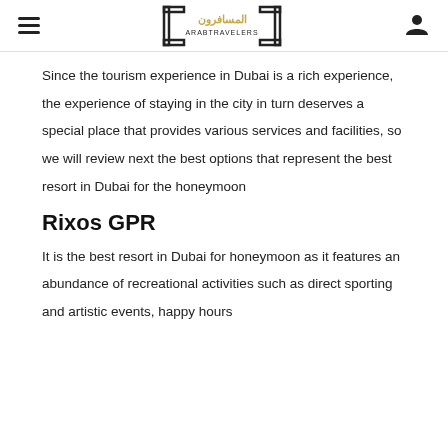ArabTravelers logo with hamburger menu and user icon
Since the tourism experience in Dubai is a rich experience, the experience of staying in the city in turn deserves a special place that provides various services and facilities, so we will review next the best options that represent the best resort in Dubai for the honeymoon
Rixos GPR
It is the best resort in Dubai for honeymoon as it features an abundance of recreational activities such as direct sporting and artistic events, happy hours